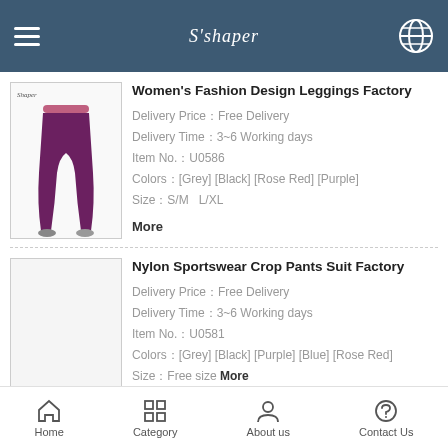Shaper
[Figure (photo): Product photo of purple women's leggings on white background]
Women's Fashion Design Leggings Factory
Delivery Price：Free Delivery
Delivery Time：3~6 Working days
Item No.：U0586
Colors：[Grey] [Black] [Rose Red] [Purple]
Size：S/M  L/XL
More
[Figure (photo): Product image placeholder for Nylon Sportswear Crop Pants Suit]
Nylon Sportswear Crop Pants Suit Factory
Delivery Price：Free Delivery
Delivery Time：3~6 Working days
Item No.：U0581
Colors：[Grey] [Black] [Purple] [Blue] [Rose Red]
Size：Free size More
Home  Category  About us  Contact Us